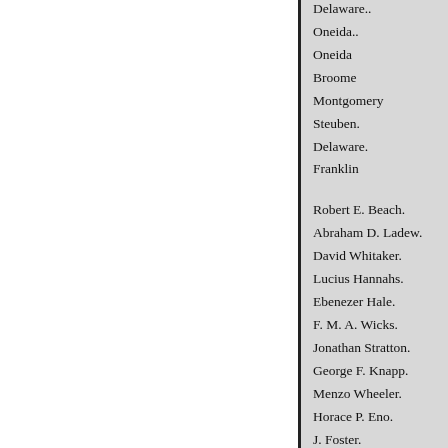Delaware..
Oneida..
Oneida
Broome
Montgomery
Steuben.
Delaware.
Franklin
Robert E. Beach.
Abraham D. Ladew.
David Whitaker.
Lucius Hannahs.
Ebenezer Hale.
F. M. A. Wicks.
Jonathan Stratton.
George F. Knapp.
Menzo Wheeler.
Horace P. Eno.
J. Foster.
John Parker.
Samuel R. Creveling.
William A. G. Arthur.
William Ransom,
Michael T...